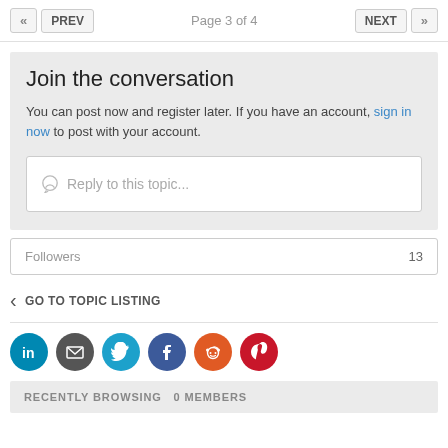« PREV   Page 3 of 4   NEXT »
Join the conversation
You can post now and register later. If you have an account, sign in now to post with your account.
Reply to this topic...
Followers   13
< GO TO TOPIC LISTING
[Figure (infographic): Row of social media share icons: LinkedIn, Email, Twitter, Facebook, Reddit, Pinterest]
RECENTLY BROWSING  0 MEMBERS